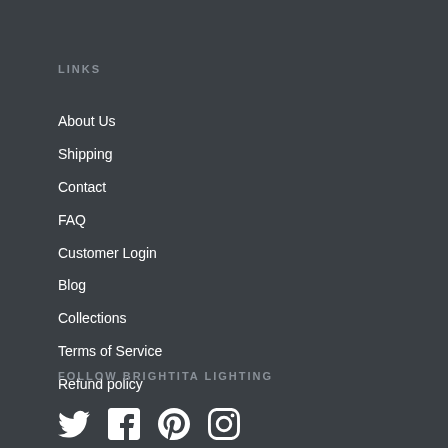LINKS
About Us
Shipping
Contact
FAQ
Customer Login
Blog
Collections
Terms of Service
Refund policy
FOLLOW BRIGHTITA LIGHTING
[Figure (other): Social media icons: Twitter, Facebook, Pinterest, Instagram]